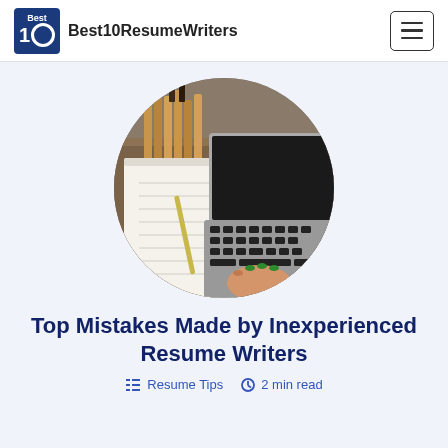Best10ResumeWriters
[Figure (photo): Circular cropped photo of a person's hands typing on a laptop keyboard, with a notebook and pencil on the left side, and a bunch of pencils visible in the background on a wooden surface.]
Top Mistakes Made by Inexperienced Resume Writers
Resume Tips  2 min read